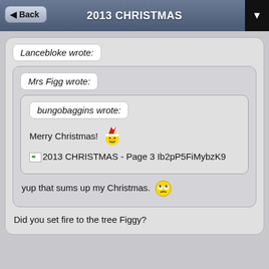2013 CHRISTMAS
Lancebloke wrote:
Mrs Figg wrote:
bungobaggins wrote:
Merry Christmas! 🎅
2013 CHRISTMAS - Page 3 Ib2pP5FiMybzK9
yup that sums up my Christmas. 🙄
Did you set fire to the tree Figgy?